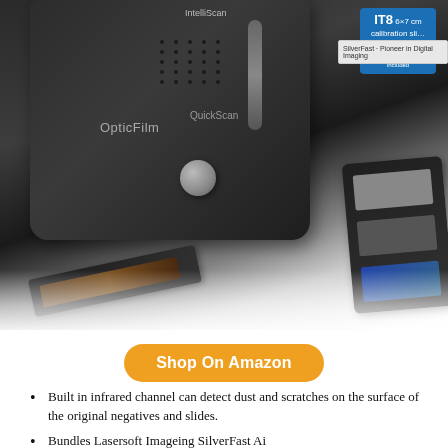[Figure (photo): Product photo of an OpticFilm scanner (dark/black body with QuickScan and IntelliScan buttons) shown alongside an IT8 6×7cm calibration slide badge, a SilverFast Pioneer in Digital Imaging software box, a dark film strip holder with negatives, and a black slide holder containing three mounted slides.]
Shop On Amazon
Built in infrared channel can detect dust and scratches on the surface of the original negatives and slides.
Bundles Lasersoft Imageing SilverFast Ai